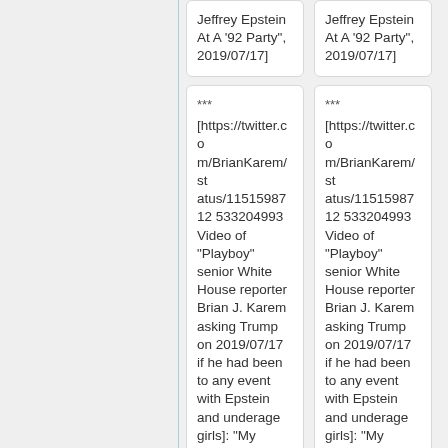Jeffrey Epstein At A '92 Party", 2019/07/17]
Jeffrey Epstein At A '92 Party", 2019/07/17]
*** [https://twitter.com/BrianKarem/status/1151598712533204993 Video of "Playboy" senior White House reporter Brian J. Karem asking Trump on 2019/07/17 if he had been to any event with Epstein and underage girls]: "My question: Have you ever been to a social function with Jeff...
*** [https://twitter.com/BrianKarem/status/1151598712533204993 Video of "Playboy" senior White House reporter Brian J. Karem asking Trump on 2019/07/17 if he had been to any event with Epstein and underage girls]: "My question: Have you ever been to a social function with Jeff...